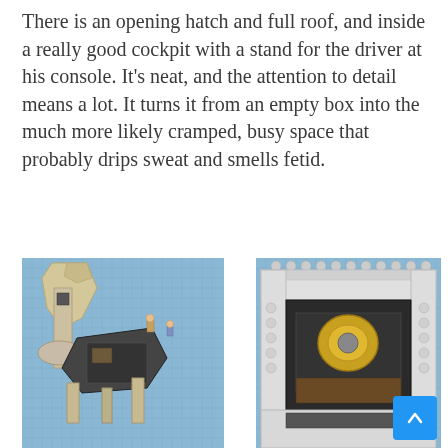There is an opening hatch and full roof, and inside a really good cockpit with a stand for the driver at his console. It's neat, and the attention to detail means a lot. It turns it from an empty box into the much more likely cramped, busy space that probably drips sweat and smells fetid.
[Figure (photo): Aerial view of a LEGO model (likely an AT-AT or similar Star Wars vehicle) on a blue cutting mat, with small LEGO minifigures visible, showing the interior cockpit detail from above.]
[Figure (photo): Close-up aerial view of the interior of a LEGO model showing the cockpit with yellow and brown detail pieces, white structural walls, and surrounding LEGO brick construction on a blue cutting mat.]